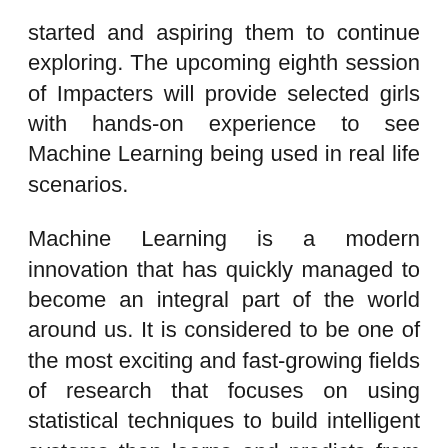started and aspiring them to continue exploring. The upcoming eighth session of Impacters will provide selected girls with hands-on experience to see Machine Learning being used in real life scenarios.
Machine Learning is a modern innovation that has quickly managed to become an integral part of the world around us. It is considered to be one of the most exciting and fast-growing fields of research that focuses on using statistical techniques to build intelligent systems than learns and predicts from the available data. From self-driving cars to medical diagnosis, what once used to be science fiction is now becoming a reality.
In our “Getting Started with Machine